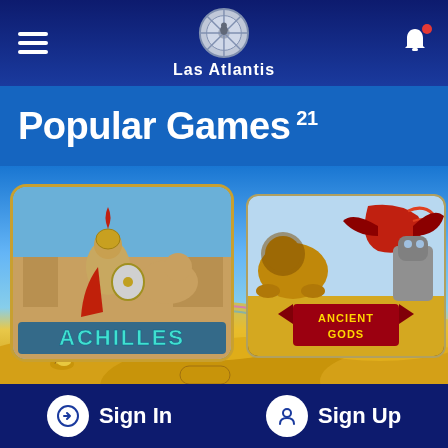Las Atlantis
Popular Games 21
[Figure (screenshot): Game card for Achilles slot game showing a Roman/Greek warrior in armor with a castle in background, title 'ACHILLES' in teal letters at bottom]
[Figure (screenshot): Game card for Ancient Gods slot game showing mythological creatures and a dragon in golden hues, title 'ANCIENT GODS' in red/gold letters]
[Figure (illustration): Desert/underwater themed background illustration with sand dunes, a golden lamp, coral-like plants, and a diver silhouette]
Sign In   Sign Up